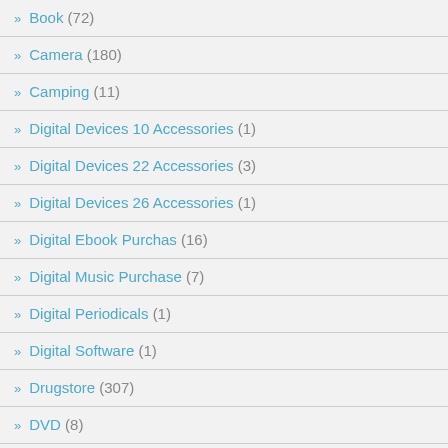Book (72)
Camera (180)
Camping (11)
Digital Devices 10 Accessories (1)
Digital Devices 22 Accessories (3)
Digital Devices 26 Accessories (1)
Digital Ebook Purchas (16)
Digital Music Purchase (7)
Digital Periodicals (1)
Digital Software (1)
Drugstore (307)
DVD (8)
Electronics (242)